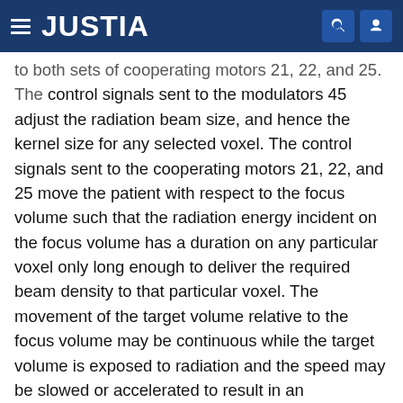JUSTIA
to both sets of cooperating motors 21, 22, and 25. The control signals sent to the modulators 45 adjust the radiation beam size, and hence the kernel size for any selected voxel. The control signals sent to the cooperating motors 21, 22, and 25 move the patient with respect to the focus volume such that the radiation energy incident on the focus volume has a duration on any particular voxel only long enough to deliver the required beam density to that particular voxel. The movement of the target volume relative to the focus volume may be continuous while the target volume is exposed to radiation and the speed may be slowed or accelerated to result in an appropriate dwell time. Alternatively, movement may comprise sequential movement or re-positioning of the target volume in a multiplicity of positions relative to the focus volume. In this case, the radiation source is pulsed off while the